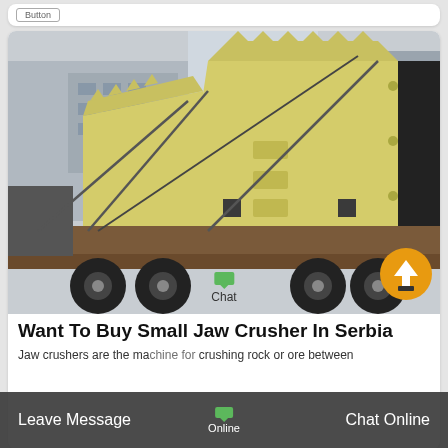[Figure (photo): Two large yellow jaw crusher frames loaded on a flatbed truck, with a building visible in the background. An orange circular arrow navigation button is overlaid on the bottom-right of the photo.]
Want To Buy Small Jaw Crusher In Serbia
Jaw crushers are the machine for crushing rock or ore between two heavy steel jaws. They come in a variety of sizes...
Leave Message  Online  Chat Online